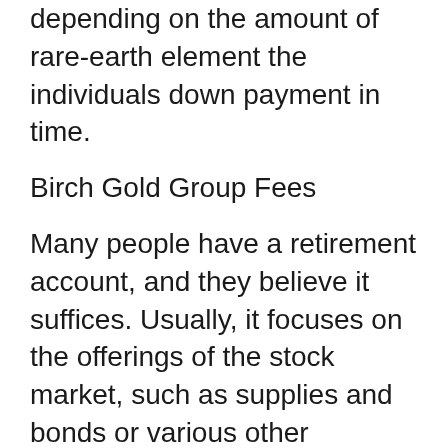depending on the amount of rare-earth element the individuals down payment in time.
Birch Gold Group Fees
Many people have a retirement account, and they believe it suffices. Usually, it focuses on the offerings of the stock market, such as supplies and bonds or various other possessions focused on the US buck.
This free gold Individual retirement account financial investment guide is here to show you just how you can quickly transform some of that to bullion coins and also gold bars. Doing this could protect your investment from rising cost of living, financial